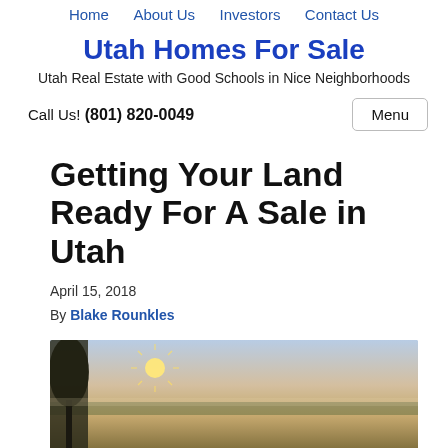Home   About Us   Investors   Contact Us
Utah Homes For Sale
Utah Real Estate with Good Schools in Nice Neighborhoods
Call Us! (801) 820-0049    Menu
Getting Your Land Ready For A Sale in Utah
April 15, 2018
By Blake Rounkles
[Figure (photo): Landscape photo of an open field at sunrise with a tree silhouette on the left and sunburst through tree branches, distant treeline on the horizon]